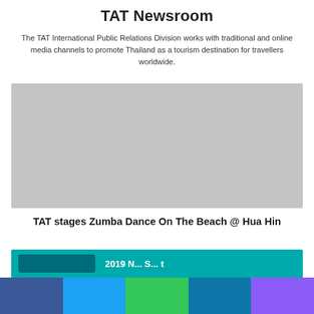TAT Newsroom
The TAT International Public Relations Division works with traditional and online media channels to promote Thailand as a tourism destination for travellers worldwide.
[Figure (photo): Grey placeholder image for a TAT Newsroom article]
TAT stages Zumba Dance On The Beach @ Hua Hin
[Figure (screenshot): Partial view of a second article thumbnail with teal background and a dark teal button, with partially visible white text starting '2019 N...']
[Figure (infographic): Social media sharing bar with five colored sections: blue (Facebook), light blue (Twitter), green (Google+/share), dark blue (LinkedIn), purple (Pinterest)]